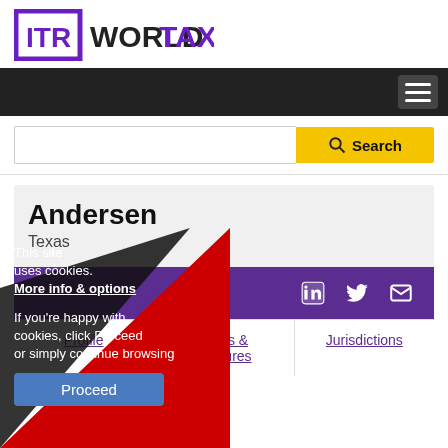[Figure (logo): ITR World Tax logo with purple square bracket box around ITR and WORLD TAX text in dark gray and purple]
[Figure (screenshot): Dark navigation bar with hamburger menu icon on right]
[Figure (screenshot): Search bar with yellow Search button]
Andersen
Texas
[Figure (screenshot): Purple bar with LinkedIn, Twitter, and envelope/email icons on right]
Profile   News & Features   Jurisdictions
This site uses cookies. More info & options

If you're happy with cookies, click Proceed or simply continue browsing

Proceed